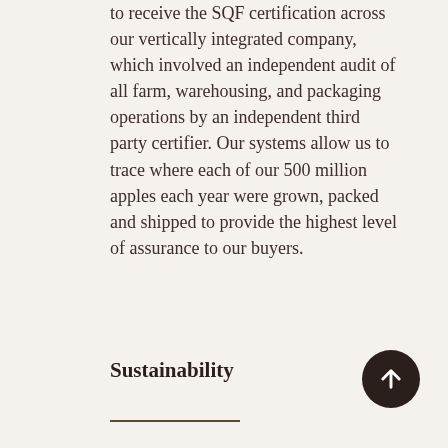to receive the SQF certification across our vertically integrated company, which involved an independent audit of all farm, warehousing, and packaging operations by an independent third party certifier. Our systems allow us to trace where each of our 500 million apples each year were grown, packed and shipped to provide the highest level of assurance to our buyers.
Sustainability